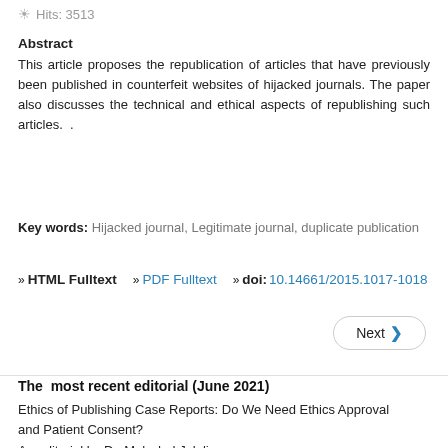Hits: 3513
Abstract
This article proposes the republication of articles that have previously been published in counterfeit websites of hijacked journals. The paper also discusses the technical and ethical aspects of republishing such articles.  .
Key words: Hijacked journal, Legitimate journal, duplicate publication
» HTML Fulltext   » PDF Fulltext   » doi: 10.14661/2015.1017-1018
Next ›
The  most recent editorial (June 2021)
Ethics of Publishing Case Reports: Do We Need Ethics Approval and Patient Consent?
An editorial by Dr. Mehrdad Jalalian
Read more.